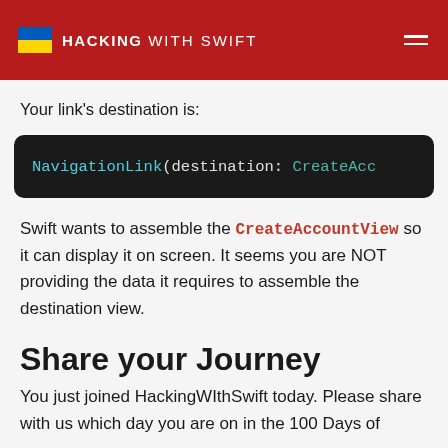HACKING WITH SWIFT
Your link's destination is:
[Figure (screenshot): Code block on dark background showing: NavigationLink(destination: CreateAcc]
Swift wants to assemble the CreateAccountView so it can display it on screen. It seems you are NOT providing the data it requires to assemble the destination view.
Share your Journey
You just joined HackingWIthSwift today. Please share with us which day you are on in the 100 Days of